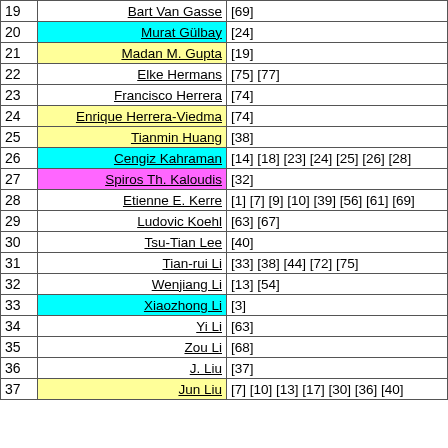| # | Name | References |
| --- | --- | --- |
| 19 | Bart Van Gasse | [69] |
| 20 | Murat Gülbay | [24] |
| 21 | Madan M. Gupta | [19] |
| 22 | Elke Hermans | [75] [77] |
| 23 | Francisco Herrera | [74] |
| 24 | Enrique Herrera-Viedma | [74] |
| 25 | Tianmin Huang | [38] |
| 26 | Cengiz Kahraman | [14] [18] [23] [24] [25] [26] [28] |
| 27 | Spiros Th. Kaloudis | [32] |
| 28 | Etienne E. Kerre | [1] [7] [9] [10] [39] [56] [61] [69] |
| 29 | Ludovic Koehl | [63] [67] |
| 30 | Tsu-Tian Lee | [40] |
| 31 | Tian-rui Li | [33] [38] [44] [72] [75] |
| 32 | Wenjiang Li | [13] [54] |
| 33 | Xiaozhong Li | [3] |
| 34 | Yi Li | [63] |
| 35 | Zou Li | [68] |
| 36 | J. Liu | [37] |
| 37 | Jun Liu | [7] [10] [13] [17] [30] [36] [40] |